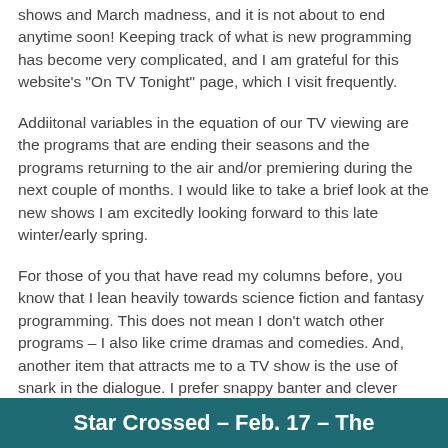shows and March madness, and it is not about to end anytime soon! Keeping track of what is new programming has become very complicated, and I am grateful for this website’s “On TV Tonight” page, which I visit frequently.
Addiitonal variables in the equation of our TV viewing are the programs that are ending their seasons and the programs returning to the air and/or premiering during the next couple of months. I would like to take a brief look at the new shows I am excitedly looking forward to this late winter/early spring.
For those of you that have read my columns before, you know that I lean heavily towards science fiction and fantasy programming. This does not mean I don’t watch other programs – I also like crime dramas and comedies. And, another item that attracts me to a TV show is the use of snark in the dialogue. I prefer snappy banter and clever retorts.
Star Crossed – Feb. 17 – The